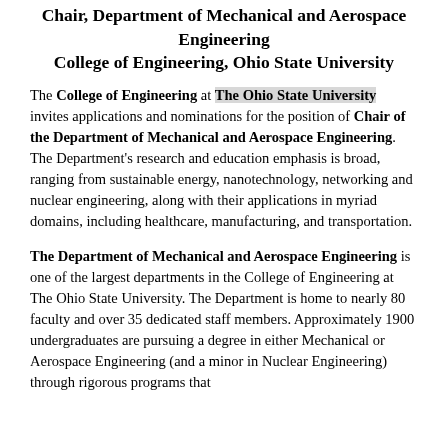Chair, Department of Mechanical and Aerospace Engineering
College of Engineering, Ohio State University
The College of Engineering at The Ohio State University invites applications and nominations for the position of Chair of the Department of Mechanical and Aerospace Engineering. The Department's research and education emphasis is broad, ranging from sustainable energy, nanotechnology, networking and nuclear engineering, along with their applications in myriad domains, including healthcare, manufacturing, and transportation.
The Department of Mechanical and Aerospace Engineering is one of the largest departments in the College of Engineering at The Ohio State University. The Department is home to nearly 80 faculty and over 35 dedicated staff members. Approximately 1900 undergraduates are pursuing a degree in either Mechanical or Aerospace Engineering (and a minor in Nuclear Engineering) through rigorous programs that